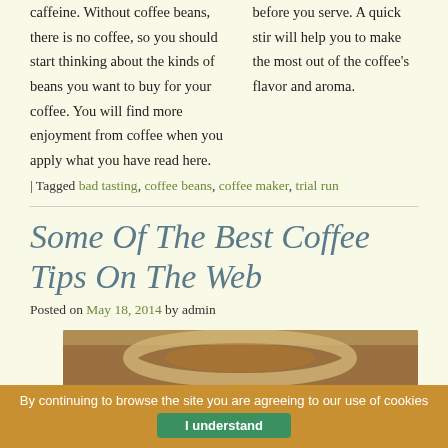caffeine. Without coffee beans, there is no coffee, so you should start thinking about the kinds of beans you want to buy for your coffee. You will find more enjoyment from coffee when you apply what you have read here.
before you serve. A quick stir will help you to make the most out of the coffee's flavor and aroma.
| Tagged bad tasting, coffee beans, coffee maker, trial run
Some Of The Best Coffee Tips On The Web
Posted on May 18, 2014 by admin
[Figure (photo): A close-up photograph of a coffee cup from above, showing coffee with foam on a wooden surface.]
By continuing to browse the site you are agreeing to our use of cookies
I understand